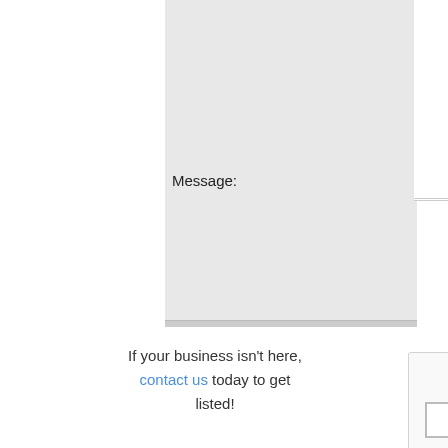Message:
[Figure (screenshot): reCAPTCHA widget showing a checkbox and 'I'm not a robot' text with reCAPTCHA logo on the right side showing 'reCAPT...' and 'Privacy -']
Send  Clear  (Date: 9/5/20
If your business isn't here, contact us today to get listed!